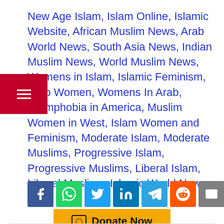New Age Islam, Islam Online, Islamic Website, African Muslim News, Arab World News, South Asia News, Indian Muslim News, World Muslim News, Womens in Islam, Islamic Feminism, Arab Women, Womens In Arab, Islamphobia in America, Muslim Women in West, Islam Women and Feminism, Moderate Islam, Moderate Muslims, Progressive Islam, Progressive Muslims, Liberal Islam, Liberal Muslims, Islamic World News
[Figure (other): Social media share buttons: Facebook, WhatsApp, Twitter, LinkedIn, Telegram, Reddit, Email, Tumblr]
[Figure (other): Donate Now button in orange/yellow]